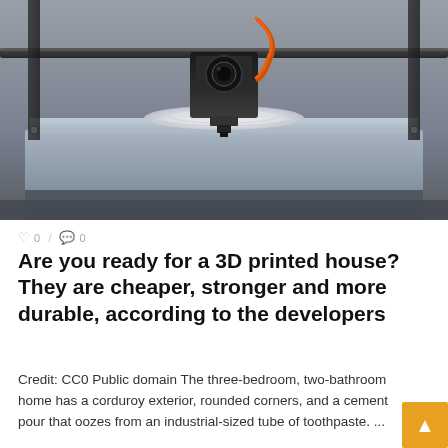[Figure (photo): Close-up photograph of a 3D printer in operation, showing the print head/extruder above a circular print on the glass bed, with an orange cable visible and a dark mechanical arm structure.]
0 / 0
Are you ready for a 3D printed house? They are cheaper, stronger and more durable, according to the developers
Credit: CC0 Public domain The three-bedroom, two-bathroom home has a corduroy exterior, rounded corners, and a cement pour that oozes from an industrial-sized tube of toothpaste. ...